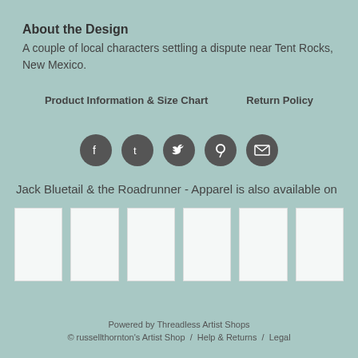About the Design
A couple of local characters settling a dispute near Tent Rocks, New Mexico.
Product Information & Size Chart    Return Policy
[Figure (infographic): Row of five social media icon buttons (Facebook, Tumblr, Twitter, Pinterest, Email) as dark circular icons]
Jack Bluetail & the Roadrunner - Apparel is also available on
[Figure (other): Six white thumbnail image placeholders in a row]
Powered by Threadless Artist Shops
© russellthornton's Artist Shop / Help & Returns / Legal